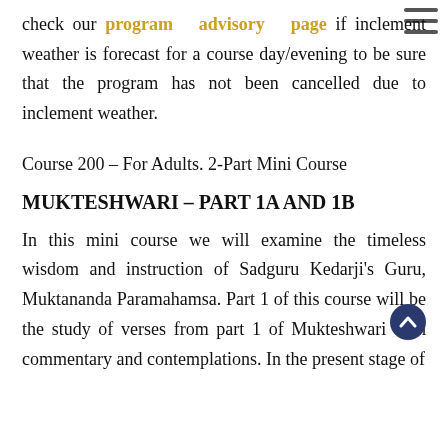check our program advisory page if inclement weather is forecast for a course day/evening to be sure that the program has not been cancelled due to inclement weather.
Course 200 – For Adults. 2-Part Mini Course
MUKTESHWARI – PART 1A AND 1B
In this mini course we will examine the timeless wisdom and instruction of Sadguru Kedarji's Guru, Muktananda Paramahams^. Part 1 of this course will be the study of verses from part 1 of Mukteshwari with commentary and contemplations. In the present stage of